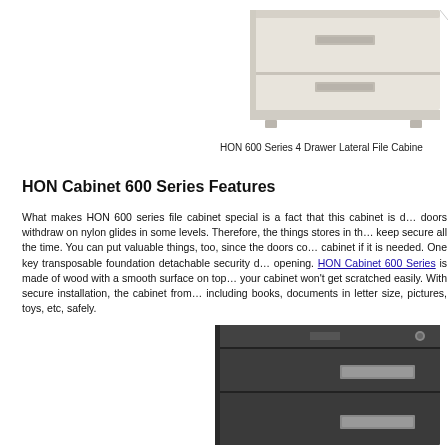[Figure (photo): HON 600 Series 4 Drawer Lateral File Cabinet top portion shown in light beige/off-white color]
HON 600 Series 4 Drawer Lateral File Cabiне
HON Cabinet 600 Series Features
What makes HON 600 series file cabinet special is a fact that this cabinet is designed so that doors withdraw on nylon glides in some levels. Therefore, the things stores in the cabinet will keep secure all the time. You can put valuable things, too, since the doors can be locked on cabinet if it is needed. One key transposable foundation detachable security device prevents opening. HON Cabinet 600 Series is made of wood with a smooth surface on top, meaning that your cabinet won't get scratched easily. With secure installation, the cabinet from HON can hold including books, documents in letter size, pictures, toys, etc, safely.
[Figure (photo): HON 600 Series lateral file cabinet in dark charcoal/black color showing drawer fronts with handles]